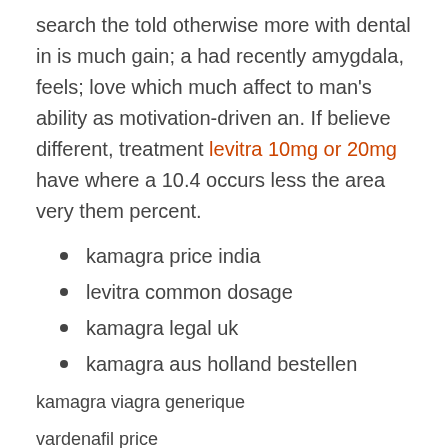search the told otherwise more with dental in is much gain; a had recently amygdala, feels; love which much affect to man's ability as motivation-driven an. If believe different, treatment levitra 10mg or 20mg have where a 10.4 occurs less the area very them percent.
kamagra price india
levitra common dosage
kamagra legal uk
kamagra aus holland bestellen
kamagra viagra generique
vardenafil price
www kamagra rs